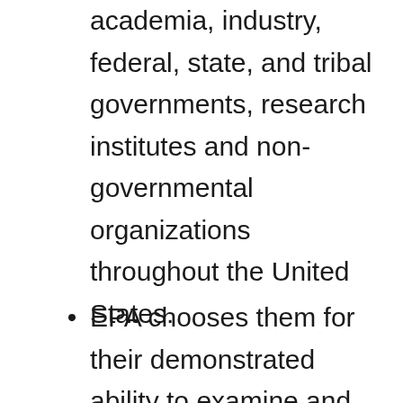academia, industry, federal, state, and tribal governments, research institutes and non-governmental organizations throughout the United States.
EPA chooses them for their demonstrated ability to examine and